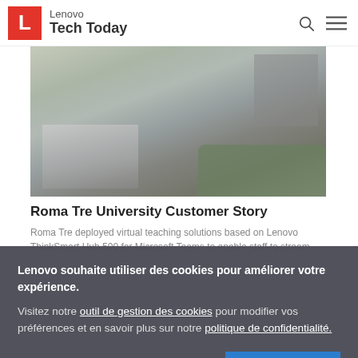Lenovo Tech Today
[Figure (photo): Aerial/elevated view of a university campus courtyard with steps, hedges, trees, and people walking]
Roma Tre University Customer Story
Roma Tre deployed virtual teaching solutions based on Lenovo ThinkSmart Hub 500 for Microsoft Teams to enable staff to stream
Lenovo souhaite utiliser des cookies pour améliorer votre expérience.
Visitez notre outil de gestion des cookies pour modifier vos préférences et en savoir plus sur notre politique de confidentialité.
ACCEPT ALL